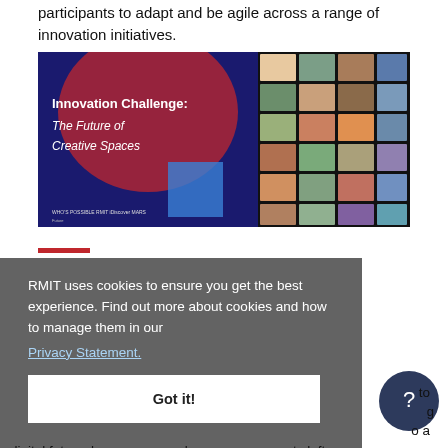participants to adapt and be agile across a range of innovation initiatives.
[Figure (screenshot): Innovation Challenge: The Future of Creative Spaces - banner image showing logo and participants in a video conference grid]
[Figure (screenshot): Cookie consent overlay on RMIT website: 'RMIT uses cookies to ensure you get the best experience. Find out more about cookies and how to manage them in our Privacy Statement.' with 'Got it!' button]
digital future, how can we make sure no one gets left behind?